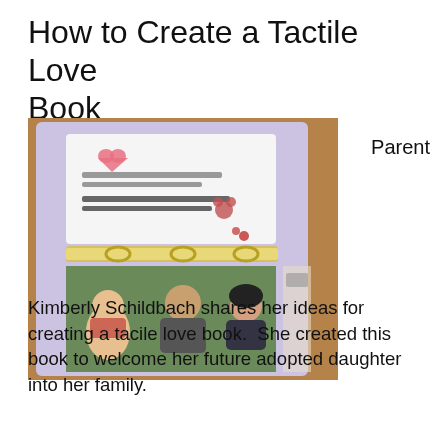How to Create a Tactile Love Book
[Figure (photo): A clear plastic binder showing a handwritten card with small decorative hearts and a teddy bear image, and a photo of a family including a baby and two adults, placed on a wooden surface with other documents.]
Parent
Kimberly Schildbach shares her ideas for creating a tacile love book.  She created this book to welcome her future adopted daughter into her family.